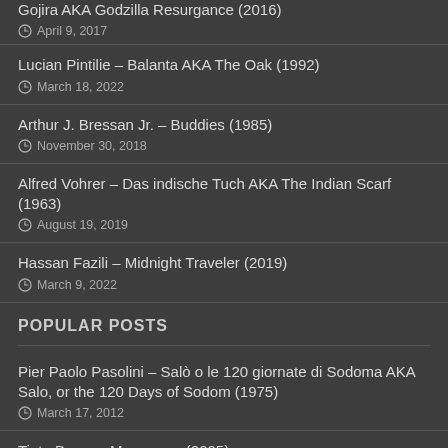Gojira AKA Godzilla Resurgance (2016)
April 9, 2017
Lucian Pintilie – Balanta AKA The Oak (1992)
March 18, 2022
Arthur J. Bressan Jr. – Buddies (1985)
November 30, 2018
Alfred Vohrer – Das indische Tuch AKA The Indian Scarf (1963)
August 19, 2019
Hassan Fazili – Midnight Traveler (2019)
March 9, 2022
POPULAR POSTS
Pier Paolo Pasolini – Salò o le 120 giornate di Sodoma AKA Salo, or the 120 Days of Sodom (1975)
March 17, 2012
Tinto Brass – Monamour (2005)